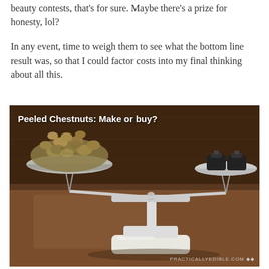beauty contests, that's for sure. Maybe there's a prize for honesty, lol?
In any event, time to weigh them to see what the bottom line result was, so that I could factor costs into my final thinking about all this.
[Figure (photo): A white cast-iron balance scale with peeled chestnuts piled in the left pan and black metal weights on the right pan, set on a wooden surface. Text overlay reads 'Peeled Chestnuts: Make or buy?' and watermark 'PRACTICALLYEDIBLE.COM' with diamond symbols in the lower right.]